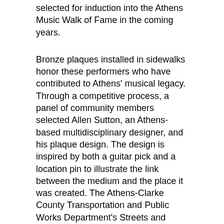selected for induction into the Athens Music Walk of Fame in the coming years.
Bronze plaques installed in sidewalks honor these performers who have contributed to Athens' musical legacy. Through a competitive process, a panel of community members selected Allen Sutton, an Athens-based multidisciplinary designer, and his plaque design. The design is inspired by both a guitar pick and a location pin to illustrate the link between the medium and the place it was created. The Athens-Clarke County Transportation and Public Works Department's Streets and Drainage Division installs the plaques.
The Athens Music Walk of Fame is funded by the Athens Cultural Affairs Commission and supported by community partnerships, including the Athens Downtown Development Authority, ACCGov's Transportation and Public Works Streets & Drainage Division, and ACCGov's Leisure Services Department Arts Division.